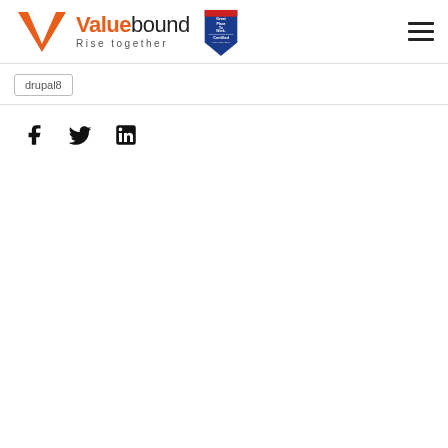[Figure (logo): Valuebound logo with orange V mark, text 'Valuebound Rise together', and Great Place To Work Certified badge]
drupal8
[Figure (infographic): Social media share icons: Facebook, Twitter, LinkedIn]